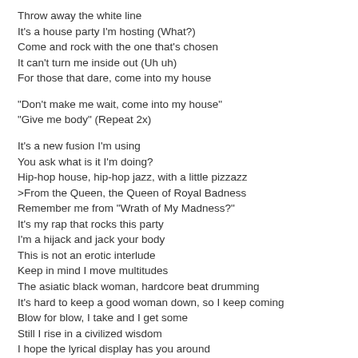Throw away the white line
It's a house party I'm hosting (What?)
Come and rock with the one that's chosen
It can't turn me inside out (Uh uh)
For those that dare, come into my house
"Don't make me wait, come into my house"
"Give me body" (Repeat 2x)
It's a new fusion I'm using
You ask what is it I'm doing?
Hip-hop house, hip-hop jazz, with a little pizzazz
>From the Queen, the Queen of Royal Badness
Remember me from "Wrath of My Madness?"
It's my rap that rocks this party
I'm a hijack and jack your body
This is not an erotic interlude
Keep in mind I move multitudes
The asiatic black woman, hardcore beat drumming
It's hard to keep a good woman down, so I keep coming
Blow for blow, I take and I get some
Still I rise in a civilized wisdom
I hope the lyrical display has you around
It's my rap that rocks this party